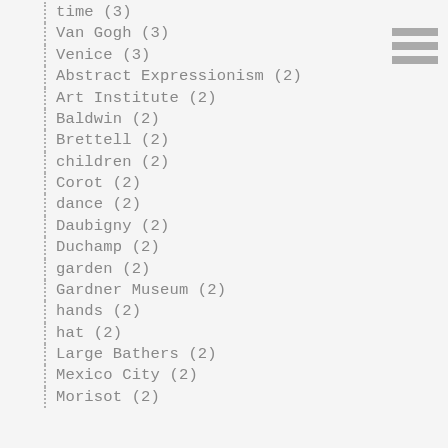time (3)
Van Gogh (3)
Venice (3)
Abstract Expressionism (2)
Art Institute (2)
Baldwin (2)
Brettell (2)
children (2)
Corot (2)
dance (2)
Daubigny (2)
Duchamp (2)
garden (2)
Gardner Museum (2)
hands (2)
hat (2)
Large Bathers (2)
Mexico City (2)
Morisot (2)